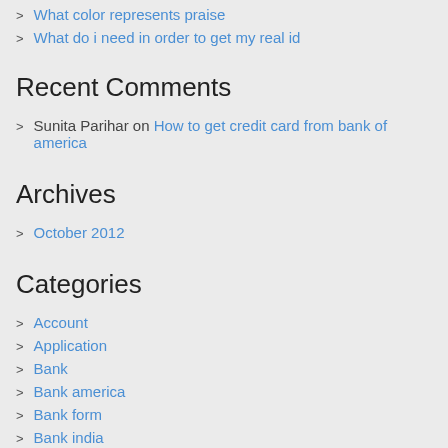What color represents praise
What do i need in order to get my real id
Recent Comments
Sunita Parihar on How to get credit card from bank of america
Archives
October 2012
Categories
Account
Application
Bank
Bank america
Bank form
Bank india